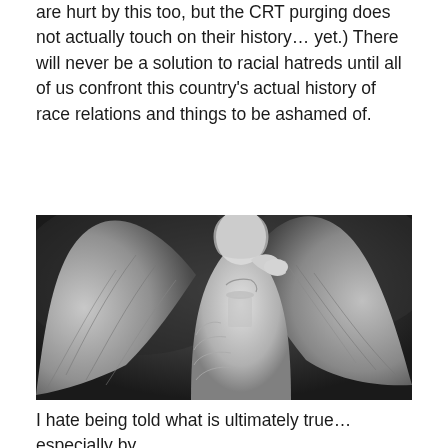are hurt by this too, but the CRT purging does not actually touch on their history… yet.) There will never be a solution to racial hatreds until all of us confront this country's actual history of race relations and things to be ashamed of.
[Figure (photo): Black and white photograph of an angel statue with large wings spread, the figure touching its face/forehead with one hand, wearing draped robes, photographed against a dark background.]
I hate being told what is ultimately true… especially by